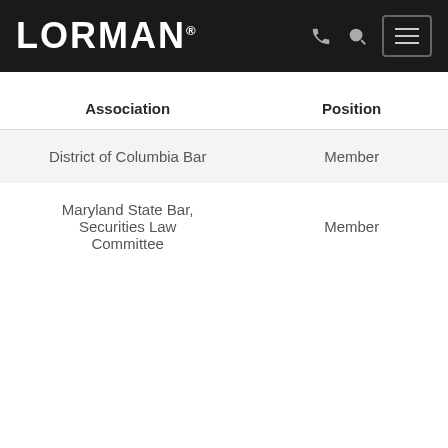LORMAN
| Association | Position |
| --- | --- |
| District of Columbia Bar | Member |
| Maryland State Bar, Securities Law Committee | Member |